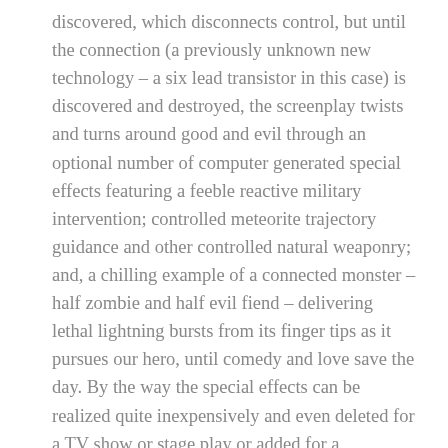discovered, which disconnects control, but until the connection (a previously unknown new technology – a six lead transistor in this case) is discovered and destroyed, the screenplay twists and turns around good and evil through an optional number of computer generated special effects featuring a feeble reactive military intervention; controlled meteorite trajectory guidance and other controlled natural weaponry; and, a chilling example of a connected monster – half zombie and half evil fiend – delivering lethal lightning bursts from its finger tips as it pursues our hero, until comedy and love save the day. By the way the special effects can be realized quite inexpensively and even deleted for a TV show or stage play or added for a competitive lion's share of a summer time market without detracting from the